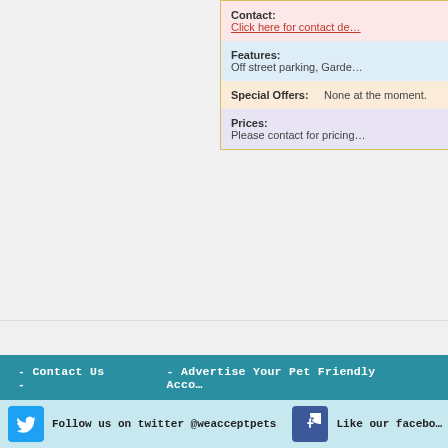| Field | Value |
| --- | --- |
| Contact: | Click here for contact de… |
| Features: | Off street parking, Garde… |
| Special Offers: | None at the moment. |
| Prices: | Please contact for pricing… |
Page: 1 2 3 4 5 6 7 8 9 10 11 1…
- Contact Us - | - Advertise Your Pet Friendly Acco…
Follow us on twitter @weacceptpets | Like our facebo…